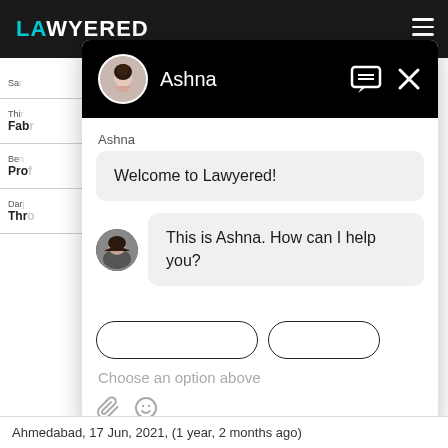[Figure (screenshot): Screenshot of Lawyered website chat widget showing a conversation with 'Ashna'. The chat header is black with an avatar and name 'Ashna' with a message icon and X close icon. The chat body shows a greeting 'Welcome to Lawyered!' and a follow-up message 'This is Ashna. How can I help you?' with quick reply button outlines below. The footer shows 'Choose an option above' placeholder text with attachment and emoji icons.]
Ahmedabad,  17 Jun, 2021,  (1 year, 2 months ago)